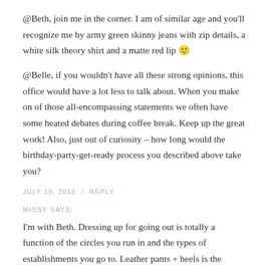@Beth, join me in the corner. I am of similar age and you'll recognize me by army green skinny jeans with zip details, a white silk theory shirt and a matte red lip 🙂
@Belle, if you wouldn't have all these strong opinions, this office would have a lot less to talk about. When you make on of those all-encompassing statements we often have some heated debates during coffee break. Keep up the great work! Also, just out of curiosity – how long would the birthday-party-get-ready process you described above take you?
JULY 19, 2012  /  REPLY
MISSY SAYS:
I'm with Beth. Dressing up for going out is totally a function of the circles you run in and the types of establishments you go to. Leather pants + heels is the dressiest I've gotten in the past